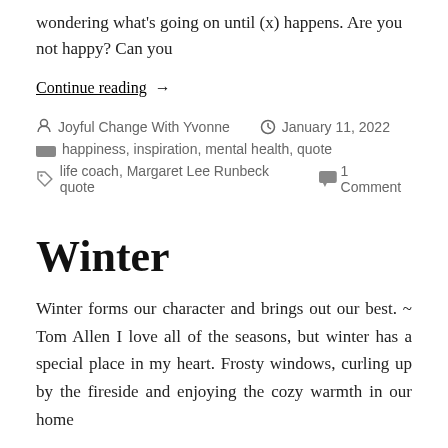wondering what's going on until (x) happens. Are you not happy? Can you
Continue reading →
Joyful Change With Yvonne   January 11, 2022
happiness, inspiration, mental health, quote
life coach, Margaret Lee Runbeck quote   1 Comment
Winter
Winter forms our character and brings out our best. ~ Tom Allen I love all of the seasons, but winter has a special place in my heart. Frosty windows, curling up by the fireside and enjoying the cozy warmth in our home